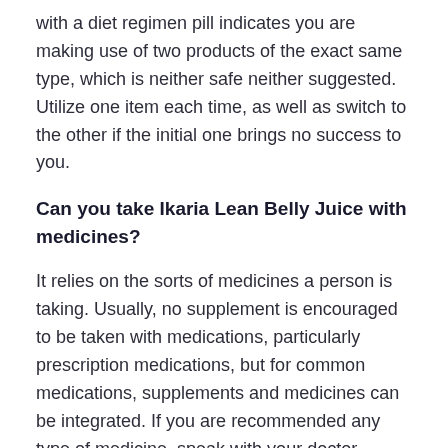with a diet regimen pill indicates you are making use of two products of the exact same type, which is neither safe neither suggested. Utilize one item each time, as well as switch to the other if the initial one brings no success to you.
Can you take Ikaria Lean Belly Juice with medicines?
It relies on the sorts of medicines a person is taking. Usually, no supplement is encouraged to be taken with medications, particularly prescription medications, but for common medications, supplements and medicines can be integrated. If you are recommended any type of medicine, speak with your doctor before using Ikaria Lean Belly